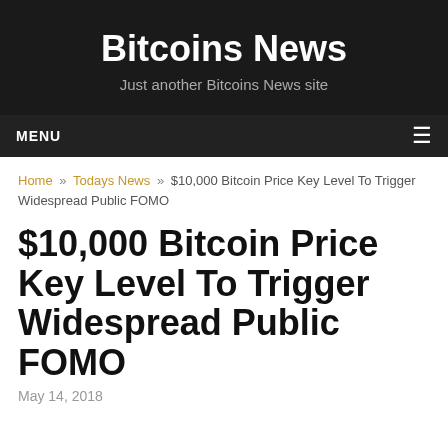Bitcoins News
Just another Bitcoins News site
MENU
Home » Todays News » $10,000 Bitcoin Price Key Level To Trigger Widespread Public FOMO
$10,000 Bitcoin Price Key Level To Trigger Widespread Public FOMO
May 14, 2018